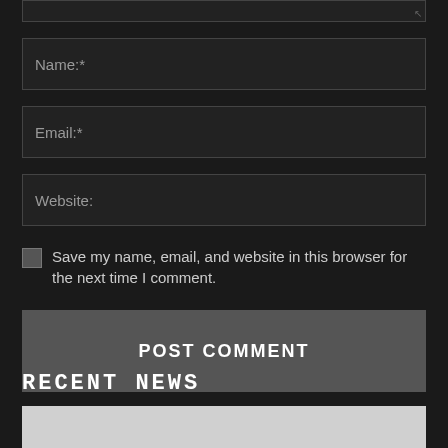[Figure (screenshot): Partial textarea input field at top of page (cropped)]
Name:*
Email:*
Website:
Save my name, email, and website in this browser for the next time I comment.
POST COMMENT
RECENT NEWS
[Figure (photo): Partial image/photo at bottom of page (cropped)]